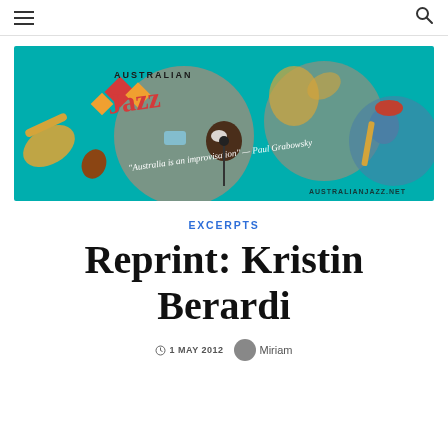≡  🔍
[Figure (illustration): Australian Jazz website banner — colorful illustrated musicians on teal background with text 'Australia is an improvisation — Paul Grabowsky' and 'australianjazz.net']
EXCERPTS
Reprint: Kristin Berardi
1 MAY 2012   Miriam